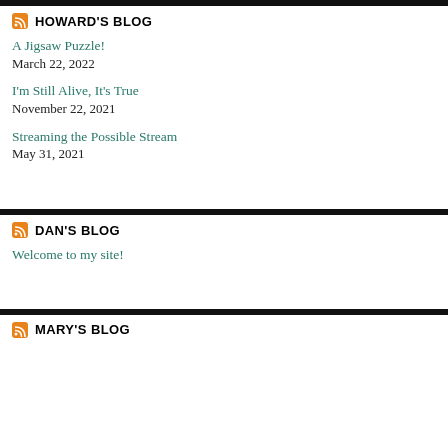HOWARD'S BLOG
A Jigsaw Puzzle!
March 22, 2022
I'm Still Alive, It's True
November 22, 2021
Streaming the Possible Stream
May 31, 2021
DAN'S BLOG
Welcome to my site!
MARY'S BLOG